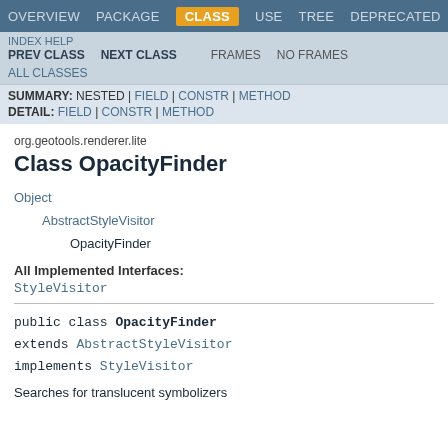OVERVIEW  PACKAGE  CLASS  USE  TREE  DEPRECATED
INDEX  HELP  PREV CLASS  NEXT CLASS  FRAMES  NO FRAMES  ALL CLASSES
SUMMARY: NESTED | FIELD | CONSTR | METHOD  DETAIL: FIELD | CONSTR | METHOD
org.geotools.renderer.lite
Class OpacityFinder
Object
    AbstractStyleVisitor
        OpacityFinder
All Implemented Interfaces:
StyleVisitor
public class OpacityFinder
extends AbstractStyleVisitor
implements StyleVisitor
Searches for translucent symbolizers